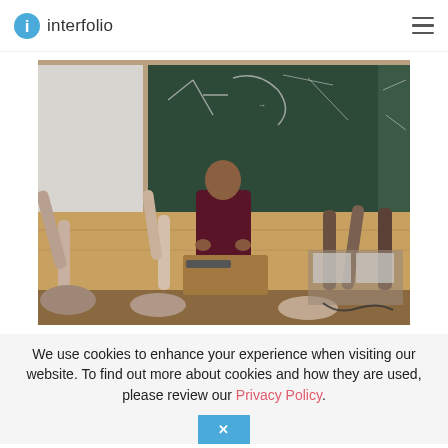interfolio
[Figure (photo): A professor standing at the front of a lecture hall in front of a blackboard covered in equations, with students raising their hands in the foreground.]
We use cookies to enhance your experience when visiting our website. To find out more about cookies and how they are used, please review our Privacy Policy.